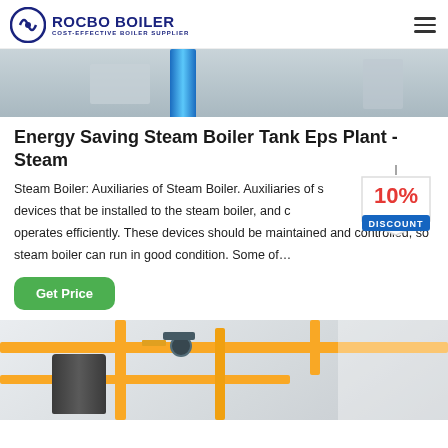ROCBO BOILER — COST-EFFECTIVE BOILER SUPPLIER
[Figure (photo): Partial view of industrial boiler room equipment, light blue and grey tones, with a blue cylindrical tank visible]
Energy Saving Steam Boiler Tank Eps Plant - Steam
Steam Boiler: Auxiliaries of Steam Boiler. Auxiliaries of steam boiler are devices that be installed to the steam boiler, and can make the boiler operates efficiently. These devices should be maintained and controlled, so steam boiler can run in good condition. Some of…
[Figure (illustration): 10% DISCOUNT badge/sticker graphic in red and blue colors, hanging sign style]
[Figure (photo): Industrial boiler room with yellow pipes and dark boiler equipment on white background]
Get Price